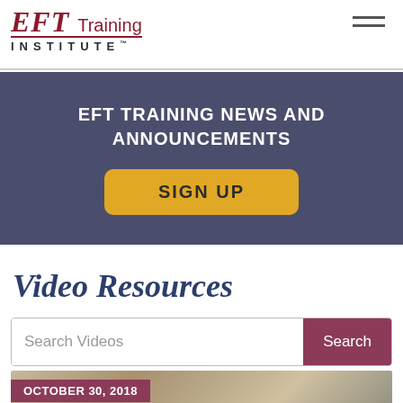EFT Training Institute™
EFT TRAINING NEWS AND ANNOUNCEMENTS
SIGN UP
Video Resources
Search Videos
Search
OCTOBER 30, 2018